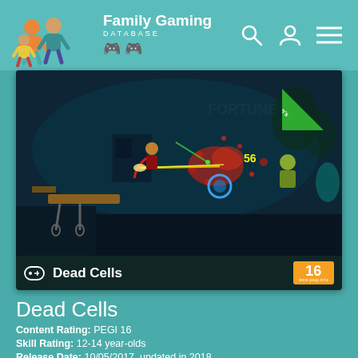Family Gaming Database
[Figure (screenshot): Dead Cells game screenshot showing action platformer gameplay with character and enemies, teal dungeon environment with red particle effects. Rowan's Pick badge in top-right corner. Game title bar at bottom with controller icon and PEGI 16 rating.]
Dead Cells
Content Rating: PEGI 16
Skill Rating: 12-14 year-olds
Release Date: 10/05/2017, updated in 2018
Price: 40% off
Platforms: Android, Mac, PC, PS4, Switch, Xbox One and iOS